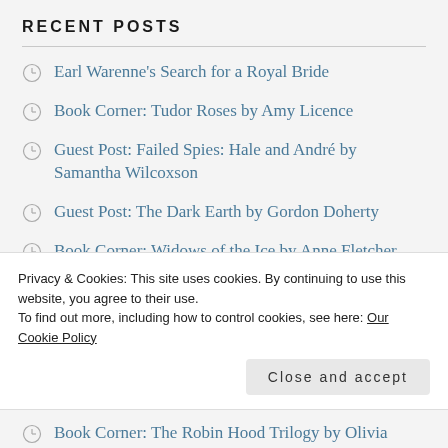RECENT POSTS
Earl Warenne's Search for a Royal Bride
Book Corner: Tudor Roses by Amy Licence
Guest Post: Failed Spies: Hale and André by Samantha Wilcoxson
Guest Post: The Dark Earth by Gordon Doherty
Book Corner: Widows of the Ice by Anne Fletcher
Guest Post: Researching the Life of Sir Walter
Privacy & Cookies: This site uses cookies. By continuing to use this website, you agree to their use.
To find out more, including how to control cookies, see here: Our Cookie Policy
Close and accept
Book Corner: The Robin Hood Trilogy by Olivia